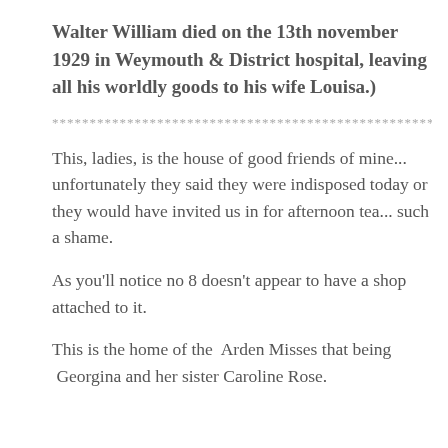Walter William died on the 13th november 1929 in Weymouth & District hospital, leaving all his worldly goods to his wife Louisa.)
************************************************************
This, ladies, is the house of good friends of mine... unfortunately they said they were indisposed today or they would have invited us in for afternoon tea... such a shame.
As you'll notice no 8 doesn't appear to have a shop attached to it.
This is the home of the  Arden Misses that being  Georgina and her sister Caroline Rose.